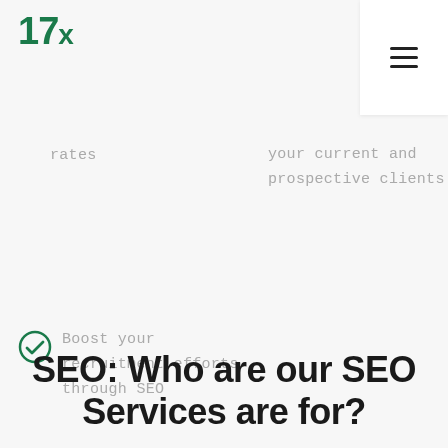17x
rates
your current and prospective clients
Boost your recruitment efforts through SEO
SEO: Who are our SEO Services are for?